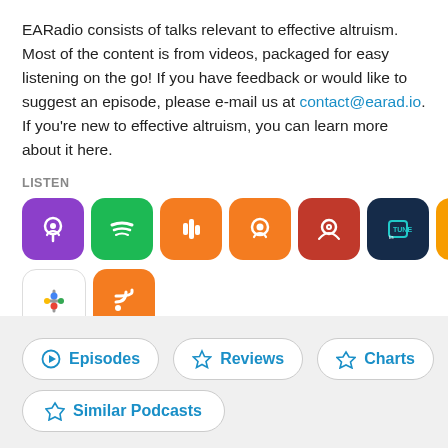EARadio consists of talks relevant to effective altruism. Most of the content is from videos, packaged for easy listening on the go! If you have feedback or would like to suggest an episode, please e-mail us at contact@earad.io. If you're new to effective altruism, you can learn more about it here.
LISTEN
[Figure (infographic): Row of podcast platform icons: Apple Podcasts (purple), Spotify (green), Castbox (orange), Podcast Addict (orange), Player FM (red), TuneIn (dark teal), Audible (orange), PlayerXYZ (blue), Podcast app (orange/white), Pocket Casts (red). Second row: Google Podcasts (white), RSS (orange).]
Episodes
Reviews
Charts
Similar Podcasts